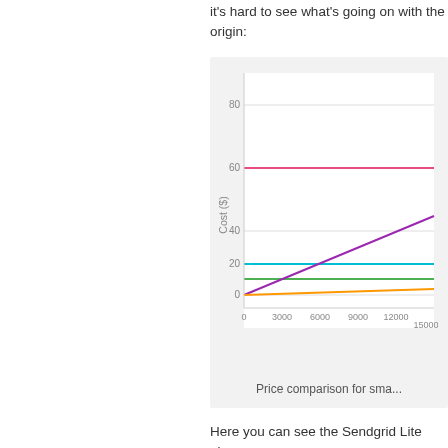it's hard to see what's going on with the origin:
[Figure (line-chart): Price comparison for sma...]
Price comparison for sma...
Here you can see the Sendgrid Lite plan...